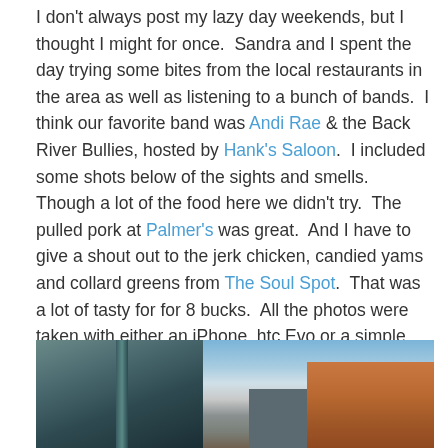I don't always post my lazy day weekends, but I thought I might for once.  Sandra and I spent the day trying some bites from the local restaurants in the area as well as listening to a bunch of bands.  I think our favorite band was Andi Rae & the Back River Bullies, hosted by Hank's Saloon.  I included some shots below of the sights and smells.  Though a lot of the food here we didn't try.  The pulled pork at Palmer's was great.  And I have to give a shout out to the jerk chicken, candied yams and collard greens from The Soul Spot.  That was a lot of tasty for for 8 bucks.  All the photos were taken with either an iPhone, htc Evo or a simple Canon Rebel (It was my day off!!!).
[Figure (photo): Two-panel photo: left side shows close-up of a green vehicle/bus with vertical bars/pillars; right side shows a blue sky with clouds and a red-brick building on the right edge.]